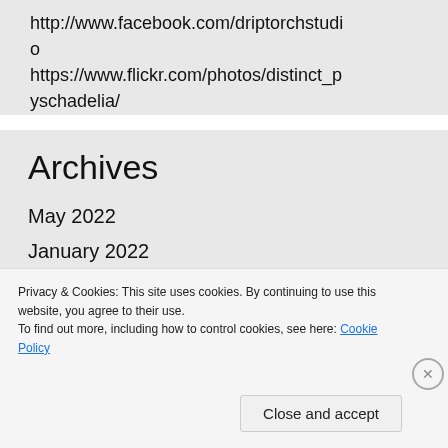http://www.facebook.com/driptorchstudio
https://www.flickr.com/photos/distinct_pyschadelia/
Archives
May 2022
January 2022
Privacy & Cookies: This site uses cookies. By continuing to use this website, you agree to their use.
To find out more, including how to control cookies, see here: Cookie Policy